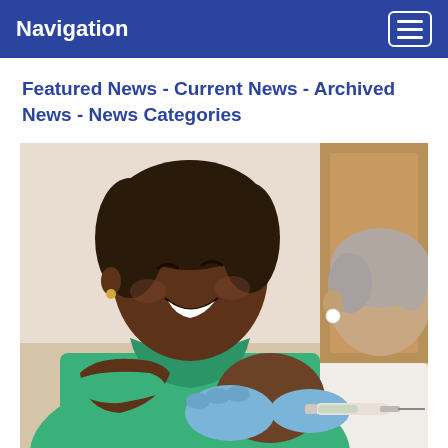Navigation
Featured News - Current News - Archived News - News Categories
[Figure (photo): A smiling woman in a green shirt rolling up her sleeve to receive a vaccine injection administered by gloved hands holding a syringe.]
Metro Creative Graphics